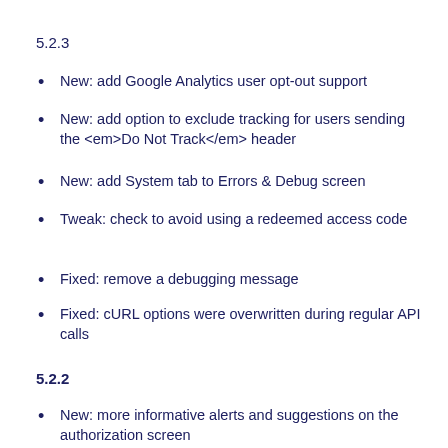5.2.3
New: add Google Analytics user opt-out support
New: add option to exclude tracking for users sending the <em>Do Not Track</em> header
New: add System tab to Errors & Debug screen
Tweak: check to avoid using a redeemed access code
Fixed: remove a debugging message
Fixed: cURL options were overwritten during regular API calls
5.2.2
New: more informative alerts and suggestions on the authorization screen